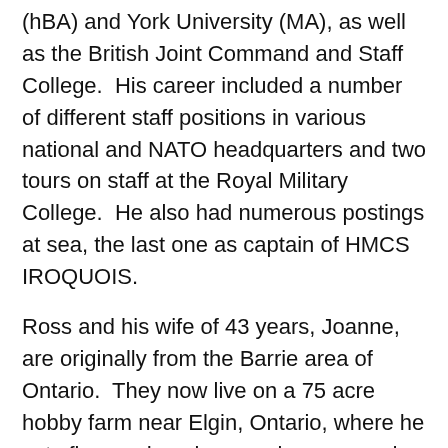(hBA) and York University (MA), as well as the British Joint Command and Staff College.  His career included a number of different staff positions in various national and NATO headquarters and two tours on staff at the Royal Military College.  He also had numerous postings at sea, the last one as captain of HMCS IROQUOIS.
Ross and his wife of 43 years, Joanne, are originally from the Barrie area of Ontario.  They now live on a 75 acre hobby farm near Elgin, Ontario, where he cuts firewood, makes maple syrup and raises a few cattle.  They are heavily engaged in community and church events, often involving some type of music. Since retirement Ross has also become involved with the local